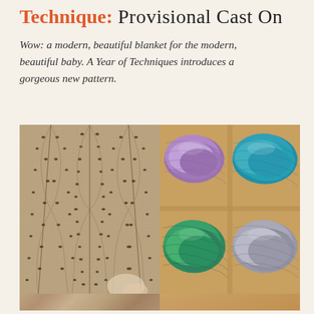Technique: Provisional Cast On
Wow: a modern, beautiful blanket for the modern, beautiful baby. A Year of Techniques introduces a gorgeous new pattern.
[Figure (photo): Two side-by-side photos: left shows a close-up of a lace knitted blanket in beige/grey tones with an intricate leaf/feather lace pattern and visible eyelets; right shows colorful skeins of yarn arranged in a grid — purple/lavender skeins, teal/blue skeins, green skeins, and grey/silver skeins on a tan background.]